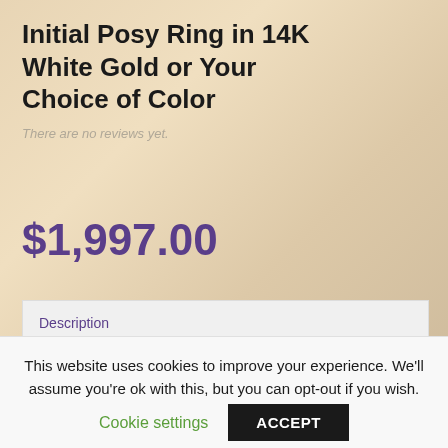Initial Posy Ring in 14K White Gold or Your Choice of Color
There are no reviews yet.
$1,997.00
Description
Description
Item RMB-5000
This website uses cookies to improve your experience. We'll assume you're ok with this, but you can opt-out if you wish.
Cookie settings
ACCEPT